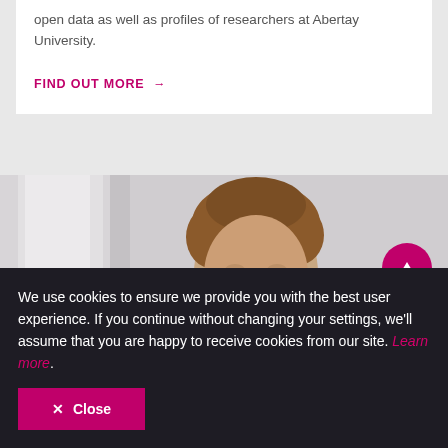open data as well as profiles of researchers at Abertay University.
FIND OUT MORE →
[Figure (photo): Young man with reddish-brown curly hair and beard, wearing a grey t-shirt, looking down, seated against a light wall with a laptop or surface in front of him.]
We use cookies to ensure we provide you with the best user experience. If you continue without changing your settings, we'll assume that you are happy to receive cookies from our site. Learn more.
✕ Close